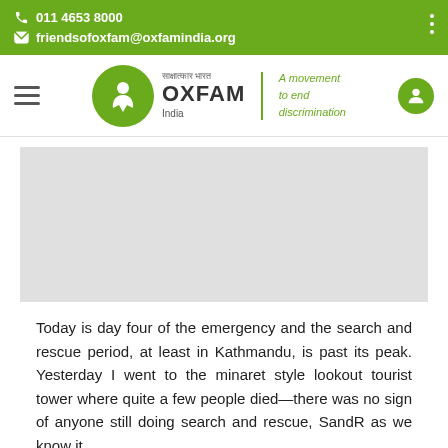011 4653 8000 | friendsofoxfam@oxfamindia.org
[Figure (logo): Oxfam India logo with tagline 'A movement to end discrimination' and navigation bar with hamburger menu and user icon]
[Figure (photo): Placeholder image area (gray box)]
Today is day four of the emergency and the search and rescue period, at least in Kathmandu, is past its peak. Yesterday I went to the minaret style lookout tourist tower where quite a few people died—there was no sign of anyone still doing search and rescue, SandR as we know it